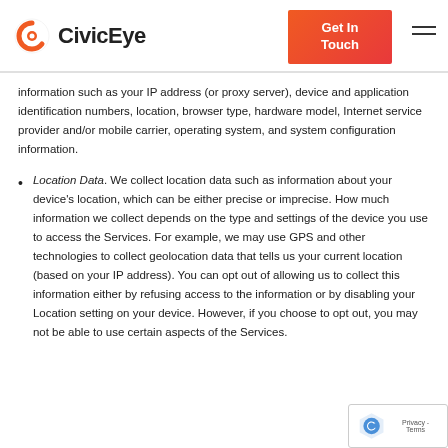CivicEye | Get In Touch
information such as your IP address (or proxy server), device and application identification numbers, location, browser type, hardware model, Internet service provider and/or mobile carrier, operating system, and system configuration information.
Location Data. We collect location data such as information about your device's location, which can be either precise or imprecise. How much information we collect depends on the type and settings of the device you use to access the Services. For example, we may use GPS and other technologies to collect geolocation data that tells us your current location (based on your IP address). You can opt out of allowing us to collect this information either by refusing access to the information or by disabling your Location setting on your device. However, if you choose to opt out, you may not be able to use certain aspects of the Services.